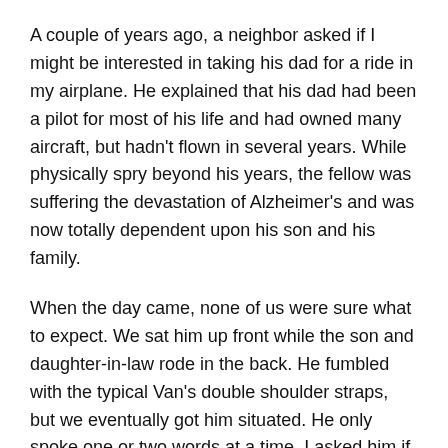A couple of years ago, a neighbor asked if I might be interested in taking his dad for a ride in my airplane. He explained that his dad had been a pilot for most of his life and had owned many aircraft, but hadn't flown in several years. While physically spry beyond his years, the fellow was suffering the devastation of Alzheimer's and was now totally dependent upon his son and his family.
When the day came, none of us were sure what to expect. We sat him up front while the son and daughter-in-law rode in the back. He fumbled with the typical Van's double shoulder straps, but we eventually got him situated. He only spoke one or two words at a time. I asked him if he wanted to wear a headset and he just nodded in the affirmative.
Once we got into clear airspace, I switched the EFIS to the